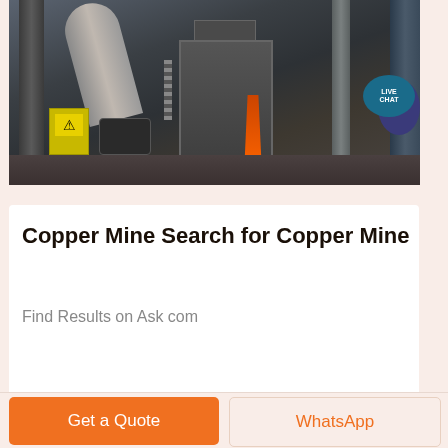[Figure (photo): Industrial copper mine machinery interior — large pipes, mechanical press or furnace equipment, orange safety cone, yellow warning box, steel pillars and gantry structure in a dark industrial facility. LIVE CHAT bubble in top-right corner.]
Copper Mine Search for Copper Mine
Find Results on Ask com
Get a Quote
WhatsApp